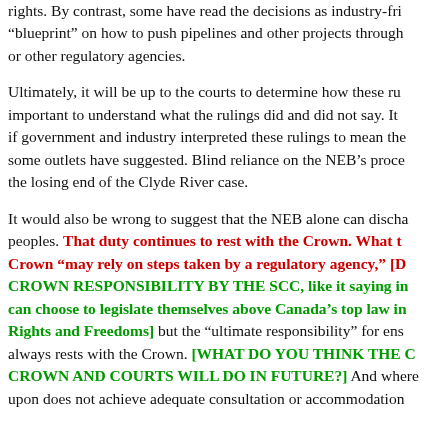rights. By contrast, some have read the decisions as industry-friendly "blueprint" on how to push pipelines and other projects through or other regulatory agencies.
Ultimately, it will be up to the courts to determine how these ru- important to understand what the rulings did and did not say. It if government and industry interpreted these rulings to mean the some outlets have suggested. Blind reliance on the NEB's proce- the losing end of the Clyde River case.
It would also be wrong to suggest that the NEB alone can discha- peoples. That duty continues to rest with the Crown. What the Crown "may rely on steps taken by a regulatory agency," [D CROWN RESPONSIBILITY BY THE SCC, like it saying it can choose to legislate themselves above Canada's top law in Rights and Freedoms] but the "ultimate responsibility" for ens always rests with the Crown. [WHAT DO YOU THINK THE C CROWN AND COURTS WILL DO IN FUTURE?] And where upon does not achieve adequate consultation or accommodation